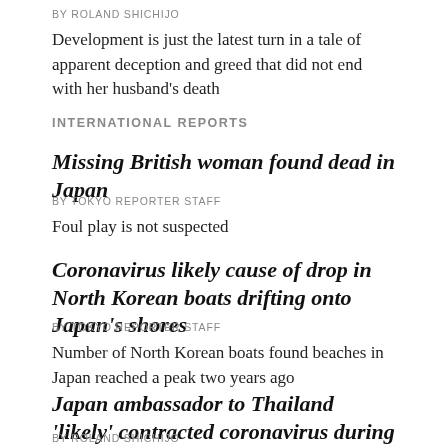BY ROLAND SHICHIJO
Development is just the latest turn in a tale of apparent deception and greed that did not end with her husband's death
INTERNATIONAL REPORTS
Missing British woman found dead in Japan
BY TOKYO REPORTER STAFF
Foul play is not suspected
Coronavirus likely cause of drop in North Korean boats drifting onto Japan's shores
BY TOKYO REPORTER STAFF
Number of North Korean boats found beaches in Japan reached a peak two years ago
Japan ambassador to Thailand 'likely' contracted coronavirus during visit to Bangkok club
BY ROLAND SHICHIJO